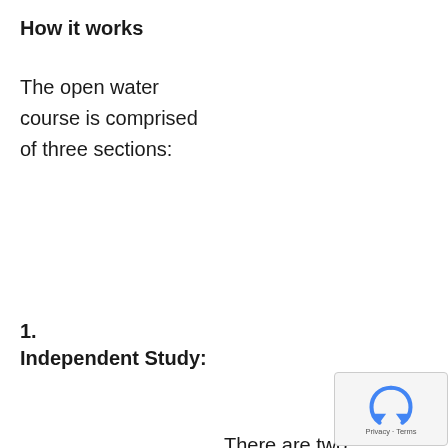How it works
The open water course is comprised of three sections:
1. Independent Study:
There are two options: You can choose either eLearning